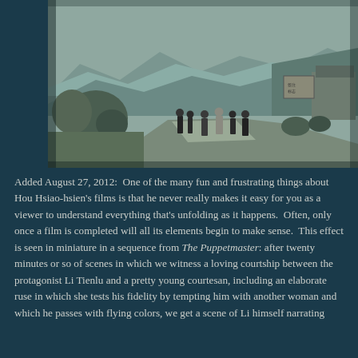[Figure (photo): Black and white photograph of several people standing on a rural path or road, with hills and mountains in the background, sparse trees and shrubs visible, and what appears to be a building or sign on the right side. The scene looks like rural China.]
Added August 27, 2012:  One of the many fun and frustrating things about Hou Hsiao-hsien's films is that he never really makes it easy for you as a viewer to understand everything that's unfolding as it happens.  Often, only once a film is completed will all its elements begin to make sense.  This effect is seen in miniature in a sequence from The Puppetmaster: after twenty minutes or so of scenes in which we witness a loving courtship between the protagonist Li Tienlu and a pretty young courtesan, including an elaborate ruse in which she tests his fidelity by tempting him with another woman and which he passes with flying colors, we get a scene of Li himself narrating